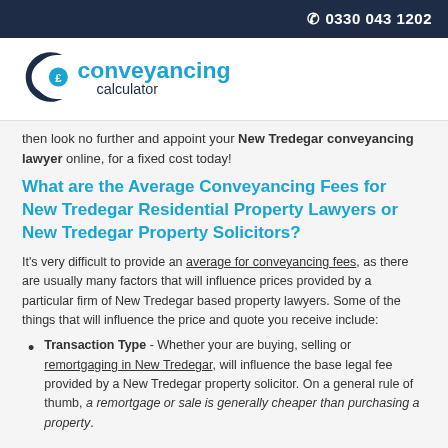☎ 0330 043 1202
[Figure (logo): Conveyancing Calculator logo with C and £ symbol in blue and navy]
then look no further and appoint your New Tredegar conveyancing lawyer online, for a fixed cost today!
What are the Average Conveyancing Fees for New Tredegar Residential Property Lawyers or New Tredegar Property Solicitors?
It's very difficult to provide an average for conveyancing fees, as there are usually many factors that will influence prices provided by a particular firm of New Tredegar based property lawyers. Some of the things that will influence the price and quote you receive include:
Transaction Type - Whether your are buying, selling or remortgaging in New Tredegar, will influence the base legal fee provided by a New Tredegar property solicitor. On a general rule of thumb, a remortgage or sale is generally cheaper than purchasing a property.